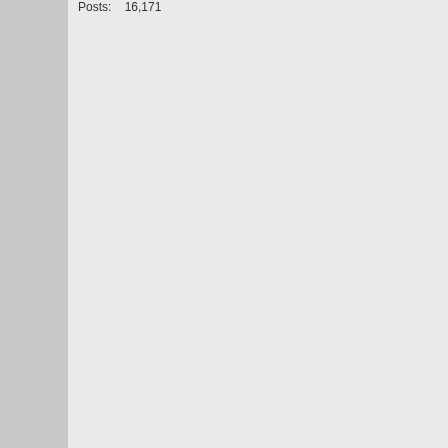Posts: 16,171
https://www.gov.uk/guidance/co...
It now clarifies the qualification
To get the first Cost of Li... must have been entitled ... to be entitled to a payme...
Universal Credit f... period that ended... 2022 to 25 May 2...
income-based JS... ESA, Income Sup... Credit for any day... 2022 to 25 May 2...
They say the 2 payments are sh... fraud'; I'm not sure how that is s...
As for just what "... will land in b... continuing to the end of the mo... I'm guessing that with UC it will... that falls between 14th July and... With Legacy Benefits who know... Of course there is always the po... seperate payment and not mad...